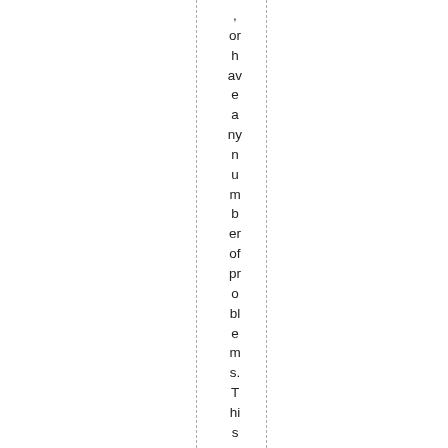, or have any number of problems. This is however even th